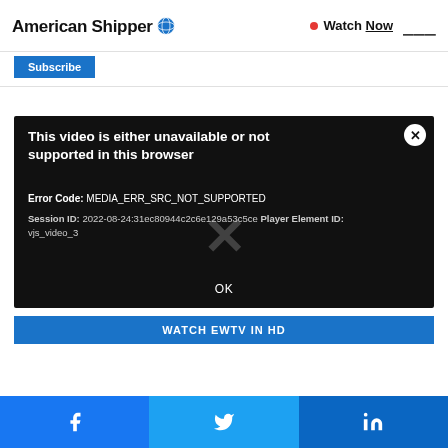American Shipper | Watch Now | Menu
Subscribe
[Figure (screenshot): Video player error dialog on black background. Title: 'This video is either unavailable or not supported in this browser'. Error Code: MEDIA_ERR_SRC_NOT_SUPPORTED. Session ID: 2022-08-24:31ec80944c2c6e129a53c5ce Player Element ID: vjs_video_3. Large X mark in center. OK button at bottom.]
WATCH EWTV IN HD
Facebook | Twitter | LinkedIn